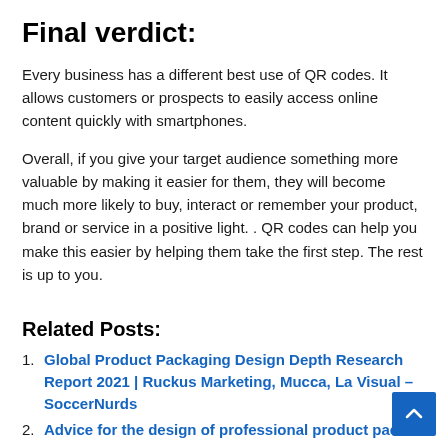Final verdict:
Every business has a different best use of QR codes. It allows customers or prospects to easily access online content quickly with smartphones.
Overall, if you give your target audience something more valuable by making it easier for them, they will become much more likely to buy, interact or remember your product, brand or service in a positive light. . QR codes can help you make this easier by helping them take the first step. The rest is up to you.
Related Posts:
Global Product Packaging Design Depth Research Report 2021 | Ruckus Marketing, Mucca, La Visual – SoccerNurds
Advice for the design of professional product packa…